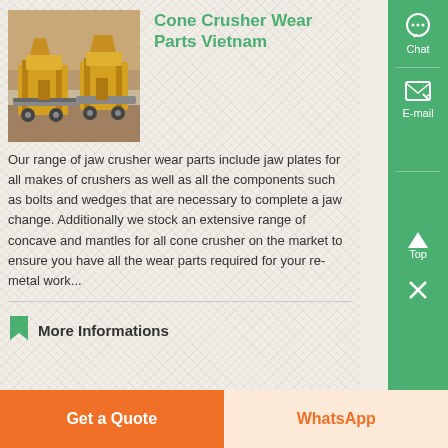[Figure (photo): Yellow industrial cone/jaw crusher machinery at a quarry or mining site, outdoor setting with rocky terrain in background]
Cone Crusher Wear Parts Vietnam
Our range of jaw crusher wear parts include jaw plates for all makes of crushers as well as all the components such as bolts and wedges that are necessary to complete a jaw change. Additionally we stock an extensive range of concave and mantles for all cone crusher on the market to ensure you have all the wear parts required for your re-metal work...
More Informations
Chat
E-mail
Top
Get a Quote
WhatsApp